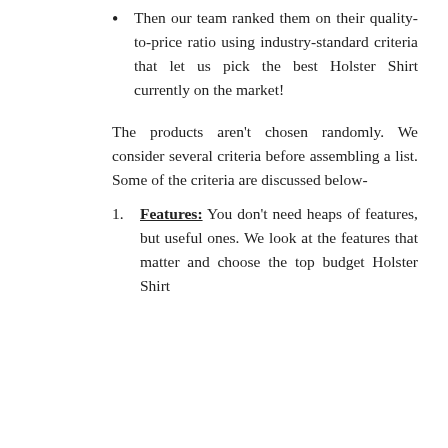Then our team ranked them on their quality-to-price ratio using industry-standard criteria that let us pick the best Holster Shirt currently on the market!
The products aren't chosen randomly. We consider several criteria before assembling a list. Some of the criteria are discussed below-
Features: You don't need heaps of features, but useful ones. We look at the features that matter and choose the top budget Holster Shirt